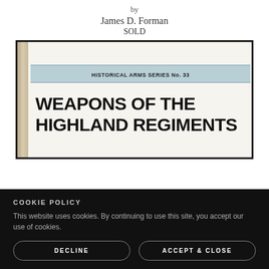by
James D. Forman
SOLD
[Figure (photo): Photograph of an open book showing the cover page of 'Weapons of the Highland Regiments' from the Historical Arms Series No. 33]
COOKIE POLICY
This website uses cookies. By continuing to use this site, you accept our use of cookies.
DECLINE
ACCEPT & CLOSE